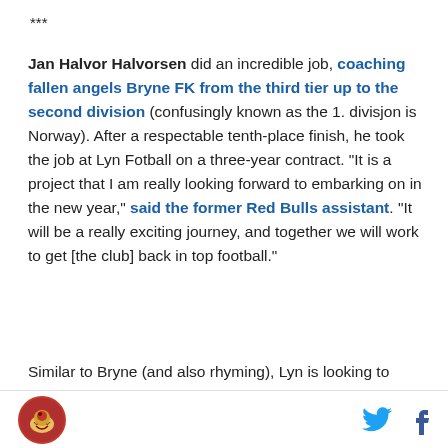***
Jan Halvor Halvorsen did an incredible job, coaching fallen angels Bryne FK from the third tier up to the second division (confusingly known as the 1. divisjon is Norway). After a respectable tenth-place finish, he took the job at Lyn Fotball on a three-year contract. “It is a project that I am really looking forward to embarking on in the new year,” said the former Red Bulls assistant. “It will be a really exciting journey, and together we will work to get [the club] back in top football.”
Similar to Bryne (and also rhyming), Lyn is looking to relive the glory days and Halvorsen appears the very
logo | twitter | facebook